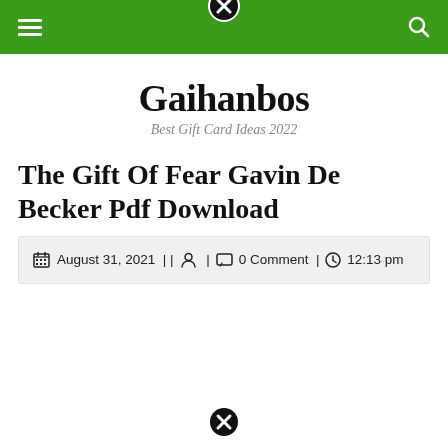Gaihanbos - Best Gift Card Ideas 2022
Gaihanbos
Best Gift Card Ideas 2022
The Gift Of Fear Gavin De Becker Pdf Download
August 31, 2021 | |  |  0 Comment |  12:13 pm